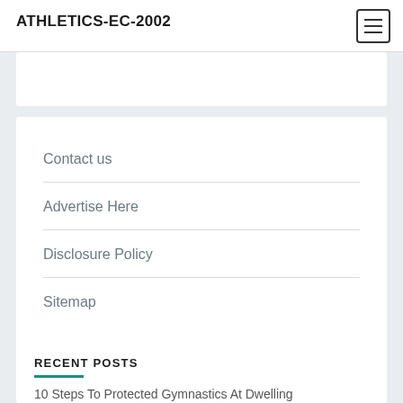ATHLETICS-EC-2002
Contact us
Advertise Here
Disclosure Policy
Sitemap
RECENT POSTS
10 Steps To Protected Gymnastics At Dwelling